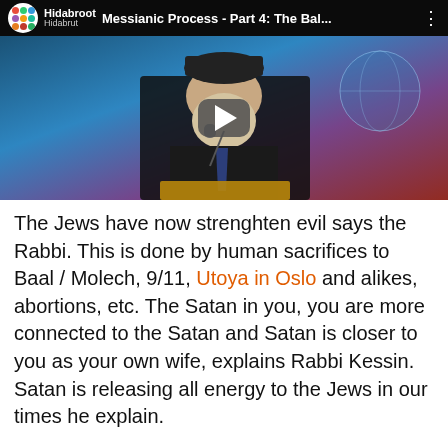[Figure (screenshot): YouTube video thumbnail showing a rabbi speaking at a podium with a microphone. The video title reads 'Messianic Process - Part 4: The Bal...' with the Hidabroot channel logo and three-dot menu. A play button overlay is visible in the center.]
The Jews have now strenghten evil says the Rabbi. This is done by human sacrifices to Baal / Molech, 9/11, Utoya in Oslo and alikes, abortions, etc. The Satan in you, you are more connected to the Satan and Satan is closer to you as your own wife, explains Rabbi Kessin. Satan is releasing all energy to the Jews in our times he explain.